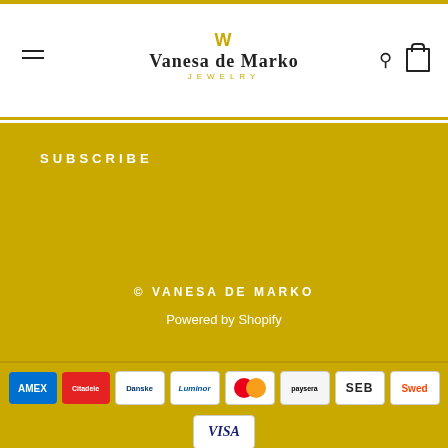Vanesa de Marko Jewelry — navigation header with logo, hamburger menu, search and cart icons
SUBSCRIBE
© VANESA DE MARKO
Powered by Shopify
[Figure (logo): Payment method logos row 1: AMEX, Citadele, Danske, Luminor, Mastercard, Paysera, SEB, Swed]
[Figure (logo): Payment method logo row 2: VISA]